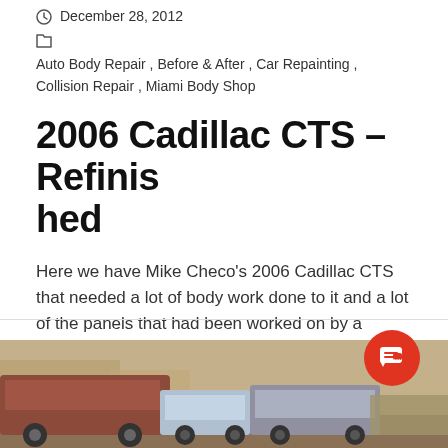December 28, 2012
Auto Body Repair , Before & After , Car Repainting , Collision Repair , Miami Body Shop
2006 Cadillac CTS – Refinished
Here we have Mike Checo's 2006 Cadillac CTS that needed a lot of body work done to it and a lot of the panels that had been worked on by a previous body shop that could never get it right......
Continue →
[Figure (photo): Bottom strip showing a partial photo of vehicles at an auto body shop]